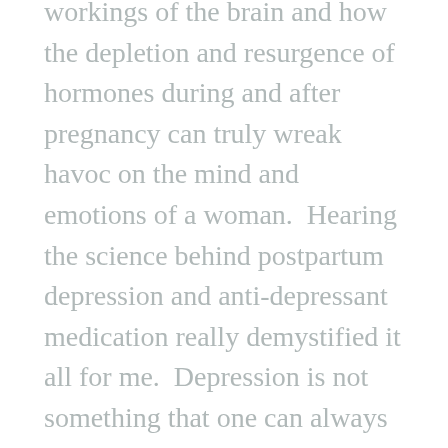workings of the brain and how the depletion and resurgence of hormones during and after pregnancy can truly wreak havoc on the mind and emotions of a woman.  Hearing the science behind postpartum depression and anti-depressant medication really demystified it all for me.  Depression is not something that one can always control or prevent or fix.  Sometimes it requires medical intervention.  Research it a bit.  Really takes away the mystery and opens one's eyes to the reality of this medical issue.
If you've known my story for awhile, you know that I lost my dad to suicide a few years ago.  He battled severe depression and other